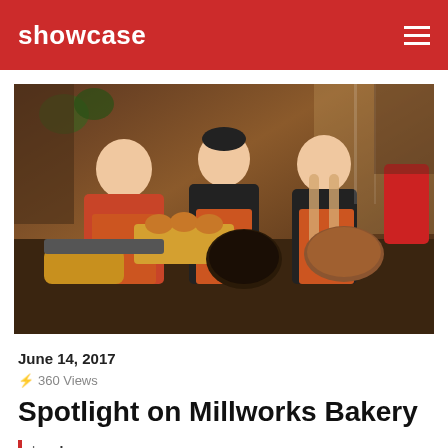showcase
[Figure (photo): Three people in orange aprons working in a bakery kitchen, surrounded by baked goods including pies, bread, and pastries on a wooden countertop.]
June 14, 2017
⚡ 360 Views
Spotlight on Millworks Bakery
by showmag